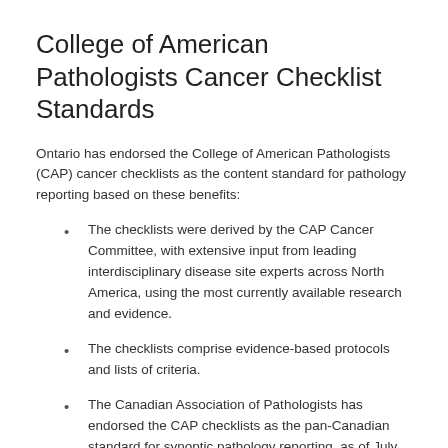College of American Pathologists Cancer Checklist Standards
Ontario has endorsed the College of American Pathologists (CAP) cancer checklists as the content standard for pathology reporting based on these benefits:
The checklists were derived by the CAP Cancer Committee, with extensive input from leading interdisciplinary disease site experts across North America, using the most currently available research and evidence.
The checklists comprise evidence-based protocols and lists of criteria.
The Canadian Association of Pathologists has endorsed the CAP checklists as the pan-Canadian standard for synoptic pathology reporting, as of July 2009.